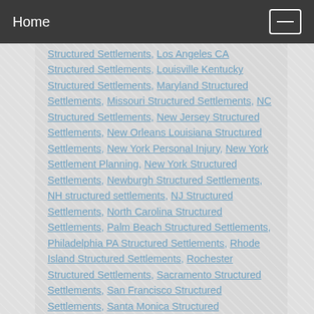Home
Structured Settlements, Los Angeles CA Structured Settlements, Louisville Kentucky Structured Settlements, Maryland Structured Settlements, Missouri Structured Settlements, NC Structured Settlements, New Jersey Structured Settlements, New Orleans Louisiana Structured Settlements, New York Personal Injury, New York Settlement Planning, New York Structured Settlements, Newburgh Structured Settlements, NH structured settlements, NJ Structured Settlements, North Carolina Structured Settlements, Palm Beach Structured Settlements, Philadelphia PA Structured Settlements, Rhode Island Structured Settlements, Rochester Structured Settlements, Sacramento Structured Settlements, San Francisco Structured Settlements, Santa Monica Structured Settlements, Sarasota Structured Settlements, South Carolina Structured Settlements, St. Louis Structured Settlements, Structured Settlements, Structured Settlements in Miami Florida area, Structured Settlements in Michigan, Structured Settlements in Nassau County, NY, Syracuse Structured Settlements, TX structured settlements, VA Structured Settlements